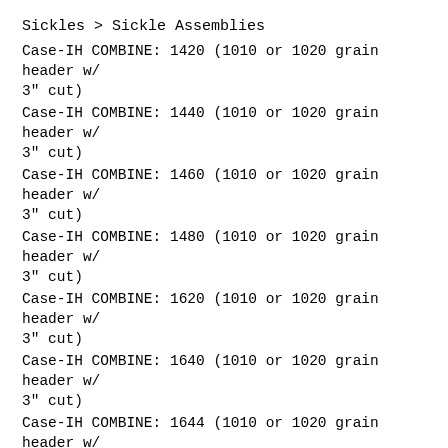Sickles > Sickle Assemblies
Case-IH COMBINE: 1420 (1010 or 1020 grain header w/ 3" cut)
Case-IH COMBINE: 1440 (1010 or 1020 grain header w/ 3" cut)
Case-IH COMBINE: 1460 (1010 or 1020 grain header w/ 3" cut)
Case-IH COMBINE: 1480 (1010 or 1020 grain header w/ 3" cut)
Case-IH COMBINE: 1620 (1010 or 1020 grain header w/ 3" cut)
Case-IH COMBINE: 1640 (1010 or 1020 grain header w/ 3" cut)
Case-IH COMBINE: 1644 (1010 or 1020 grain header w/ 3" cut)
Case-IH COMBINE: 1660 (1010 or 1020 grain header w/ 3" cut)
Case-IH COMBINE: 1666 (1010 or 1020 grain header w/ 3" cut)
Case-IH COMBINE: 1680 (1010 or 1020 grain header w/